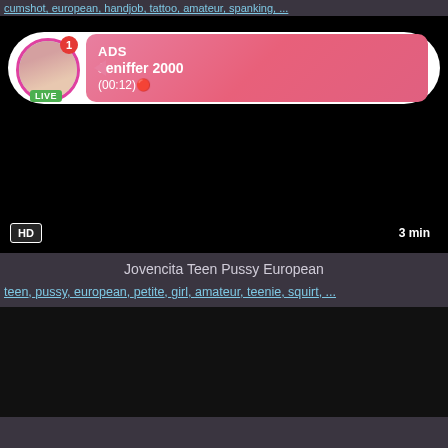cumshot, european, handjob, tattoo, amateur, spanking, ...
[Figure (screenshot): Video player with an ad overlay showing a live user named Jeniffer 2000 with HD badge and 3 min duration label]
Jovencita Teen Pussy European
teen, pussy, european, petite, girl, amateur, teenie, squirt, ...
[Figure (screenshot): Black video player thumbnail at bottom of page]